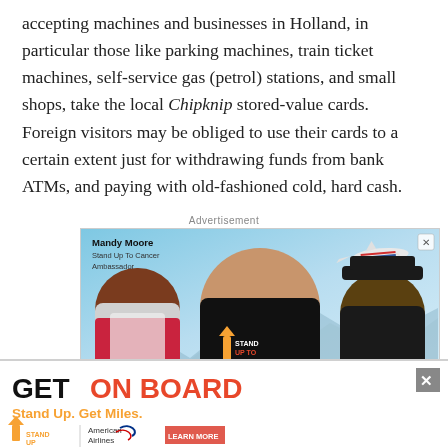accepting machines and businesses in Holland, in particular those like parking machines, train ticket machines, self-service gas (petrol) stations, and small shops, take the local Chipknip stored-value cards. Foreign visitors may be obliged to use their cards to a certain extent just for withdrawing funds from bank ATMs, and paying with old-fashioned cold, hard cash.
Advertisement
[Figure (photo): Advertisement banner featuring Mandy Moore as Stand Up To Cancer Ambassador, with three people (a Black woman in red, Mandy Moore in a Stand Up To Cancer t-shirt, and a man in a pilot uniform), with text 'GET ON BOARD' and 'Stand Up. Get Miles.' for American Airlines. A second strip ad at the bottom shows 'GET ON BOARD Stand Up. Get Miles.' with Stand Up and American Airlines logos and a Learn More button.]